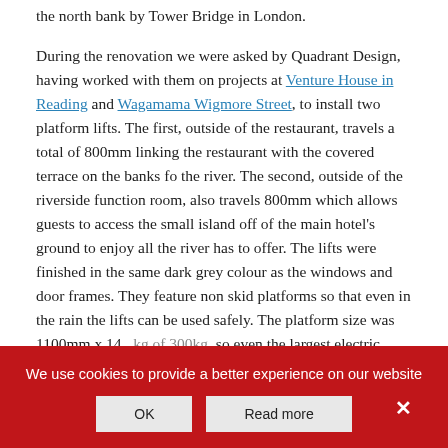the north bank by Tower Bridge in London.

During the renovation we were asked by Quadrant Design, having worked with them on projects at Venture House in Reading and Wagamama Wigmore Street, to install two platform lifts. The first, outside of the restaurant, travels a total of 800mm linking the restaurant with the covered terrace on the banks fo the river. The second, outside of the riverside function room, also travels 800mm which allows guests to access the small island off of the main hotel's ground to enjoy all the river has to offer. The lifts were finished in the same dark grey colour as the windows and door frames. They feature non skid platforms so that even in the rain the lifts can be used safely. The platform size was 1100mm x 14...kg so even the largest electric wheelchairs can be
We use cookies to provide a better experience on our website
OK
Read more